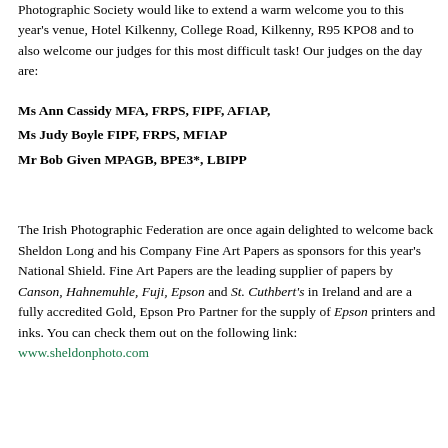Photographic Society would like to extend a warm welcome you to this year's venue, Hotel Kilkenny, College Road, Kilkenny, R95 KPO8 and to also welcome our judges for this most difficult task! Our judges on the day are:
Ms Ann Cassidy MFA, FRPS, FIPF, AFIAP,
Ms Judy Boyle FIPF, FRPS, MFIAP
Mr Bob Given MPAGB, BPE3*, LBIPP
The Irish Photographic Federation are once again delighted to welcome back Sheldon Long and his Company Fine Art Papers as sponsors for this year's National Shield. Fine Art Papers are the leading supplier of papers by Canson, Hahnemuhle, Fuji, Epson and St. Cuthbert's in Ireland and are a fully accredited Gold, Epson Pro Partner for the supply of Epson printers and inks. You can check them out on the following link: www.sheldonphoto.com